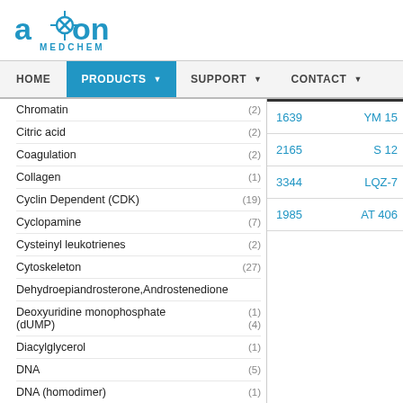[Figure (logo): Axon Medchem logo — blue axon/neuron icon with 'axon' text and 'MEDCHEM' subtitle]
HOME | PRODUCTS ▾ | SUPPORT ▾ | CONTACT ▾
Chromatin (2)
Citric acid (2)
Coagulation (2)
Collagen (1)
Cyclin Dependent (CDK) (19)
Cyclopamine (7)
Cysteinyl leukotrienes (2)
Cytoskeleton (27)
Dehydroepiandrosterone,Androstenedione
Deoxyuridine monophosphate (dUMP) (1) (4)
Diacylglycerol (1)
DNA (5)
DNA (homodimer) (1)
DNA-CDN (7)
DNA-damage response (5)
DNA-RNA (127)
| ID | Name |
| --- | --- |
| 1639 | YM 15 |
| 2165 | S 12 |
| 3344 | LQZ-7 |
| 1985 | AT 406 |